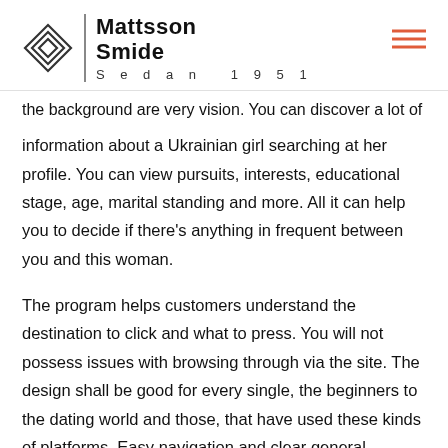Mattsson Smide Sedan 1951
the background are very vision. You can discover a lot of information about a Ukrainian girl searching at her profile. You can view pursuits, interests, educational stage, age, marital standing and more. All it can help you to decide if there's anything in frequent between you and this woman.
The program helps customers understand the destination to click and what to press. You will not possess issues with browsing through via the site. The design shall be good for every single, the beginners to the dating world and those, that have used these kinds of platforms. Easy navigation and clear general construction is likely to make your